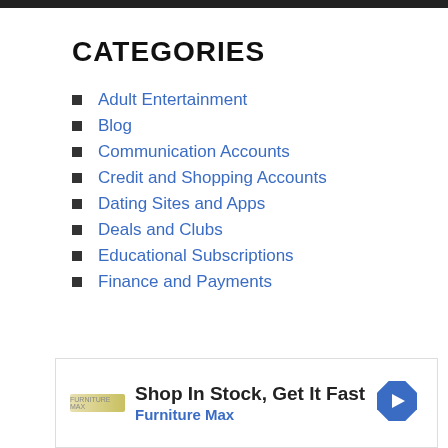CATEGORIES
Adult Entertainment
Blog
Communication Accounts
Credit and Shopping Accounts
Dating Sites and Apps
Deals and Clubs
Educational Subscriptions
Finance and Payments
Shop In Stock, Get It Fast
Furniture Max